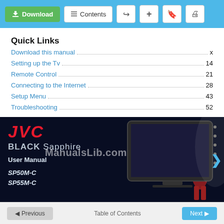Download | Contents
Quick Links
Download this manual ..... x
Setting up the Tv ..... 14
Remote Control ..... 21
Connecting to the Internet ..... 28
Setup Menu ..... 43
Troubleshooting ..... 52
[Figure (photo): JVC BLACK Sapphire User Manual cover image showing a football player on a TV screen. Text: JVC, BLACK Sapphire, User Manual, SP50M-C, SP55M-C, ManualsLib.com watermark]
Previous | Table of Contents | Next